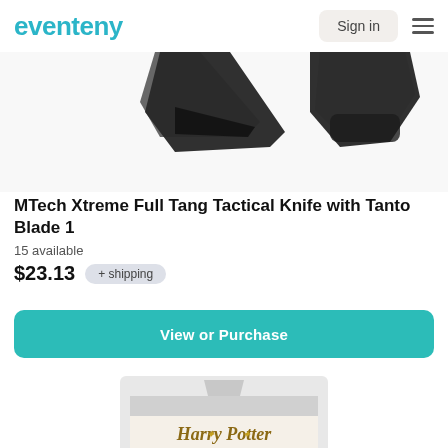eventeny  Sign in
[Figure (photo): Partial top view of MTech Xtreme Full Tang Tactical Knife with Tanto Blade, dark/black blade shown from above, cropped at top]
MTech Xtreme Full Tang Tactical Knife with Tanto Blade 1
15 available
$23.13  + shipping
View or Purchase
[Figure (photo): Harry Potter Keychain product in retail packaging, showing Harry Potter logo in gold lettering, 'KEYCHAIN' text, and image of Harry Potter character]